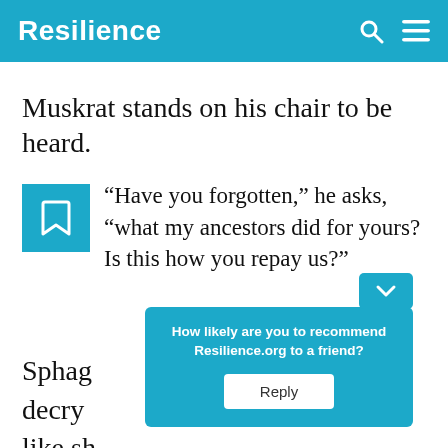Resilience
Muskrat stands on his chair to be heard.
“Have you forgotten,” he asks, “what my ancestors did for yours? Is this how you repay us?”
Sphag... ile decry... looks like sh...
How likely are you to recommend Resilience.org to a friend?